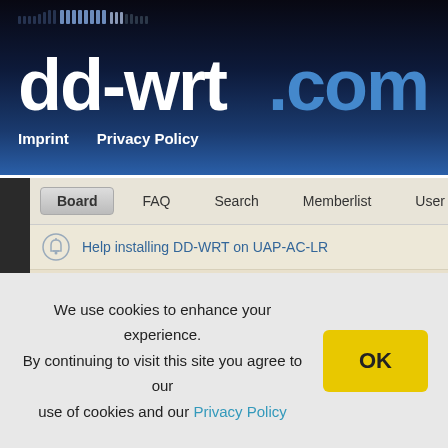[Figure (logo): dd-wrt.com logo with dark blue gradient header background and dot pattern]
Imprint   Privacy Policy
Board   FAQ   Search   Memberlist   User
Help installing DD-WRT on UAP-AC-LR
Help installing DD-WRT on Unifi AP AC PRO
Ubiquiti Product Recommendation?
How can I create a virtual wireless interface in client mode
How do I activate?
We use cookies to enhance your experience. By continuing to visit this site you agree to our use of cookies and our Privacy Policy